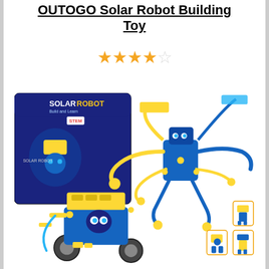OUTOGO Solar Robot Building Toy
[Figure (photo): Star rating showing 4 out of 5 stars (4 filled orange stars and 1 empty star)]
[Figure (photo): Product photo of OUTOGO Solar Robot Building Toy showing the product box labeled 'SOLAR ROBOT Build and Learn STEM' alongside assembled blue and yellow robot configurations including a wheeled robot with solar panel and eyes, a multi-armed robot creature, and smaller hexagonal inset images of additional robot builds]